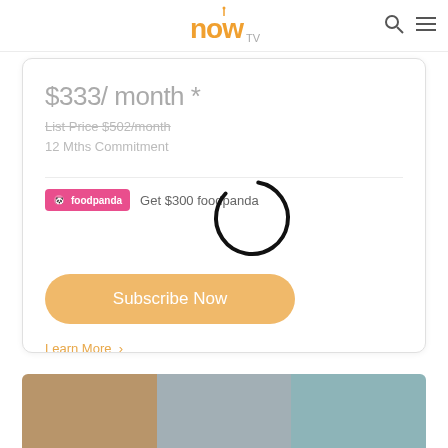now TV — navigation header with logo, search icon, and menu icon
$333/ month *
List Price $502/month
12 Mths Commitment
[Figure (logo): Foodpanda logo badge (pink background, white text: foodpanda)]
Get $300 foodpanda
[Figure (other): Circular loading spinner (black outline circle, partially complete)]
Subscribe Now
Learn More >
[Figure (photo): Bottom image strip showing three segments of photos]